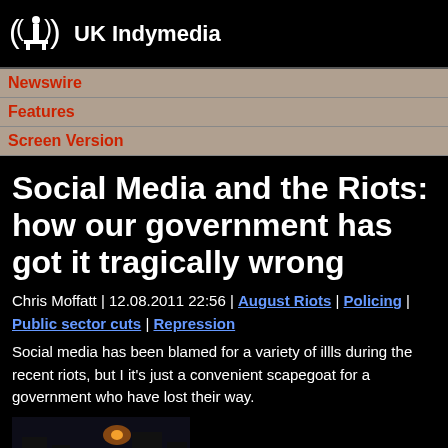UK Indymedia
Newswire
Features
Screen Version
Social Media and the Riots: how our government has got it tragically wrong
Chris Moffatt | 12.08.2011 22:56 | August Riots | Policing | Public sector cuts | Repression
Social media has been blamed for a variety of illls during the recent riots, but I it's just a convenient scapegoat for a government who have lost their way.
[Figure (photo): Night-time street scene with blue police lights and orange street lamps]